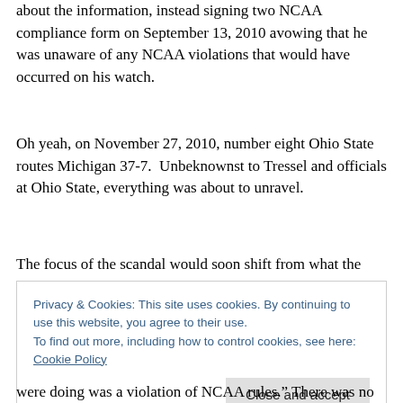about the information, instead signing two NCAA compliance form on September 13, 2010 avowing that he was unaware of any NCAA violations that would have occurred on his watch.
Oh yeah, on November 27, 2010, number eight Ohio State routes Michigan 37-7.  Unbeknownst to Tressel and officials at Ohio State, everything was about to unravel.
The focus of the scandal would soon shift from what the players did wrong to what Ohio State officials, particularly Jim Tressel, did wrong.  On December 22, 2010, the
Privacy & Cookies: This site uses cookies. By continuing to use this website, you agree to their use.
To find out more, including how to control cookies, see here: Cookie Policy
were doing was a violation of NCAA rules." There was no